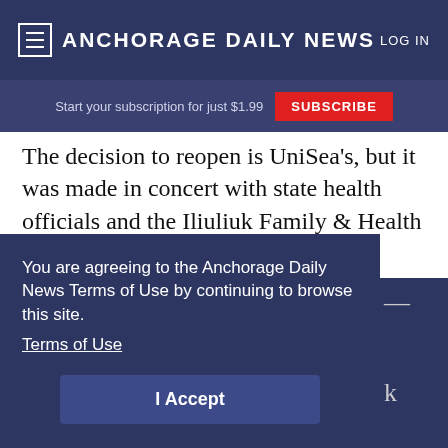Anchorage Daily News — LOG IN
Start your subscription for just $1.99  SUBSCRIBE
The decision to reopen is UniSea's, but it was made in concert with state health officials and the Iliuliuk Family & Health Services clinic in Unalaska, he said.
Resuming operations at even one plant during the usually busy Bering Sea fishing season would be a
You are agreeing to the Anchorage Daily News Terms of Use by continuing to browse this site.
Terms of Use
I Accept